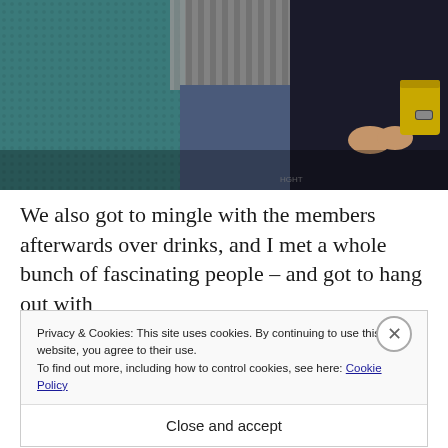[Figure (photo): Group photo of three people standing together indoors, partially cropped showing bodies from approximately chest/shoulder down. One person wearing teal/blue knitwear on left, person in middle wearing striped shirt and jeans, person on right wearing dark clothing and holding a gold/yellow bag.]
We also got to mingle with the members afterwards over drinks, and I met a whole bunch of fascinating people – and got to hang out with J... o...
Privacy & Cookies: This site uses cookies. By continuing to use this website, you agree to their use.
To find out more, including how to control cookies, see here: Cookie Policy
Close and accept